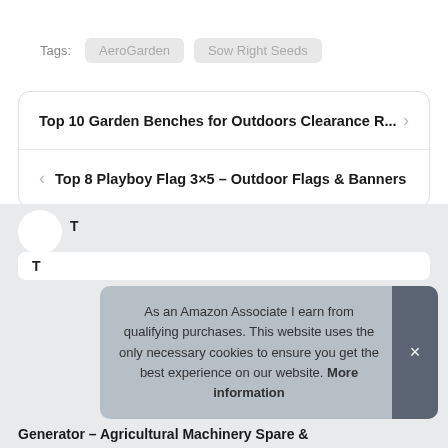Tags: AeroGarden  Sow Right Seeds
Top 10 Garden Benches for Outdoors Clearance R...
Top 8 Playboy Flag 3×5 – Outdoor Flags & Banners
As an Amazon Associate I earn from qualifying purchases. This website uses the only necessary cookies to ensure you get the best experience on our website. More information